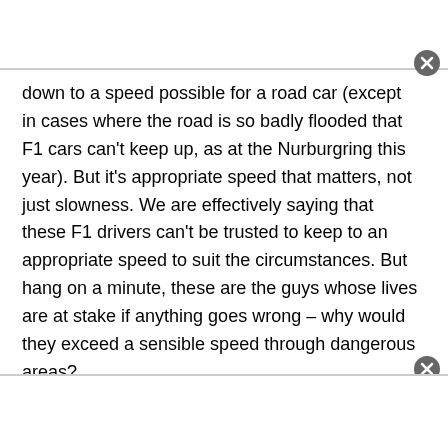down to a speed possible for a road car (except in cases where the road is so badly flooded that F1 cars can't keep up, as at the Nurburgring this year). But it's appropriate speed that matters, not just slowness. We are effectively saying that these F1 drivers can't be trusted to keep to an appropriate speed to suit the circumstances. But hang on a minute, these are the guys whose lives are at stake if anything goes wrong – why would they exceed a sensible speed through dangerous areas?
In fact, the yellow flag rule worked for decades before the safety car was introduced as a gimmick from